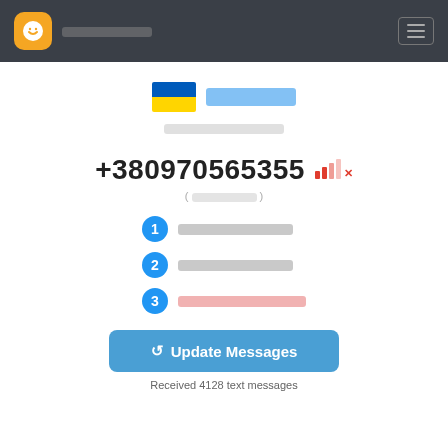Navigation bar with app logo and menu
Ukraine [country name blurred]
[subtitle blurred]
+380970565355
( [blurred] )
1. [blurred text].
2. [blurred text].
3. [blurred text].
↺ Update Messages
Received 4128 text messages